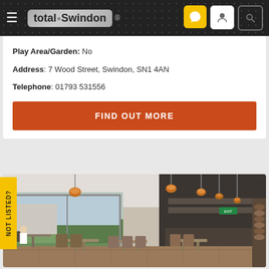total:Swindon ®
Play Area/Garden: No
Address: 7 Wood Street, Swindon, SN1 4AN
Telephone: 01793 531556
FIND OUT MORE
[Figure (photo): Interior of a restaurant/bar with wooden tables and chairs, pendant lights hanging from the ceiling, large windows looking out to a patio/garden area, and dark walls in the background. A person is seated at one of the outdoor tables visible through the window.]